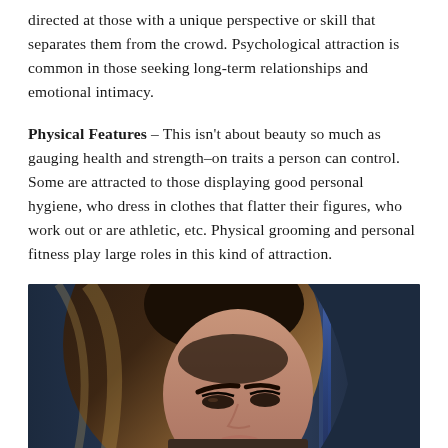directed at those with a unique perspective or skill that separates them from the crowd. Psychological attraction is common in those seeking long-term relationships and emotional intimacy.
Physical Features – This isn't about beauty so much as gauging health and strength–on traits a person can control. Some are attracted to those displaying good personal hygiene, who dress in clothes that flatter their figures, who work out or are athletic, etc. Physical grooming and personal fitness play large roles in this kind of attraction.
[Figure (photo): Close-up portrait photo of a woman with long dark-to-blonde ombre hair, dark eyebrows, looking slightly downward, against a dark blue blurred background with a blue vertical light streak.]